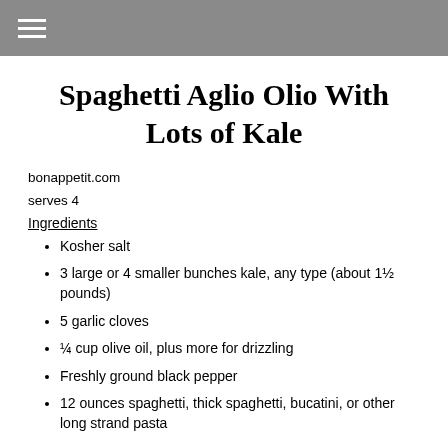≡
Spaghetti Aglio Olio With Lots of Kale
bonappetit.com
serves 4
Ingredients
Kosher salt
3 large or 4 smaller bunches kale, any type (about 1½ pounds)
5 garlic cloves
¼ cup olive oil, plus more for drizzling
Freshly ground black pepper
12 ounces spaghetti, thick spaghetti, bucatini, or other long strand pasta